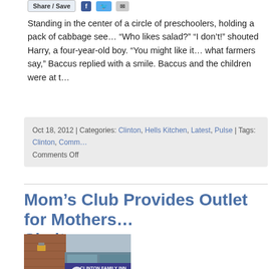[Figure (other): Share/Save button bar with Facebook, Twitter, and email icons]
Standing in the center of a circle of preschoolers, holding a pack of cabbage see... "Who likes salad?" "I don't!" shouted Harry, a four-year-old boy. "You might like it... what farmers say," Baccus replied with a smile. Baccus and the children were at t...
Oct 18, 2012 | Categories: Clinton, Hells Kitchen, Latest, Pulse | Tags: Clinton, Comm... Comments Off
Mom's Club Provides Outlet for Mothers... Shelter
[Figure (photo): Photo of Clinton Family Inn building exterior with sign reading CLINTON FAMILY INN COMMUNITY OF OPPORTUNITY]